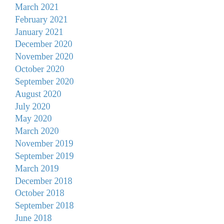March 2021
February 2021
January 2021
December 2020
November 2020
October 2020
September 2020
August 2020
July 2020
May 2020
March 2020
November 2019
September 2019
March 2019
December 2018
October 2018
September 2018
June 2018
February 2018
January 2018
November 2017